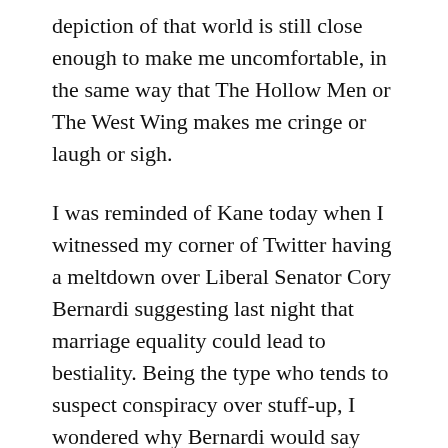depiction of that world is still close enough to make me uncomfortable, in the same way that The Hollow Men or The West Wing makes me cringe or laugh or sigh.
I was reminded of Kane today when I witnessed my corner of Twitter having a meltdown over Liberal Senator Cory Bernardi suggesting last night that marriage equality could lead to bestiality. Being the type who tends to suspect conspiracy over stuff-up, I wondered why Bernardi would say that at this particular point in time.
Sure, it was straightforward on the face of it: parliament would vote today on proposed same